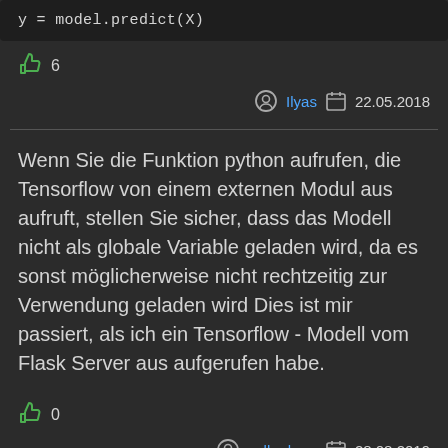y = model.predict(X)
6
Ilyas  22.05.2018
Wenn Sie die Funktion python aufrufen, die Tensorflow von einem externen Modul aus aufruft, stellen Sie sicher, dass das Modell nicht als globale Variable geladen wird, da es sonst möglicherweise nicht rechtzeitig zur Verwendung geladen wird Dies ist mir passiert, als ich ein Tensorflow - Modell vom Flask Server aus aufgerufen habe.
0
colby-ham  28.08.2019